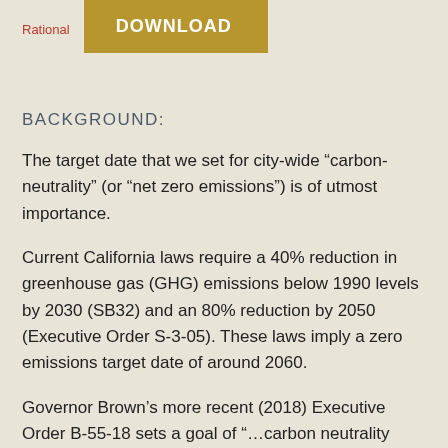Rational
DOWNLOAD
BACKGROUND:
The target date that we set for city-wide “carbon-neutrality” (or “net zero emissions”) is of utmost importance.
Current California laws require a 40% reduction in greenhouse gas (GHG) emissions below 1990 levels by 2030 (SB32) and an 80% reduction by 2050 (Executive Order S-3-05). These laws imply a zero emissions target date of around 2060.
Governor Brown’s more recent (2018) Executive Order B-55-18 sets a goal of “…carbon neutrality